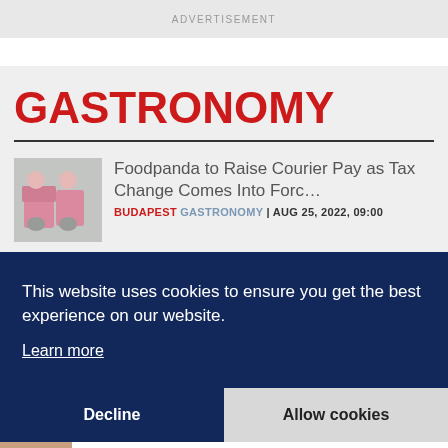ADVERTISEMENT
GASTRONOMY
Foodpanda to Raise Courier Pay as Tax Change Comes Into Forc…
BUDAPEST GASTRONOMY | AUG 25, 2022, 09:00
This website uses cookies to ensure you get the best experience on our website.
Learn more
Decline
Allow cookies
for Iberian-style ham